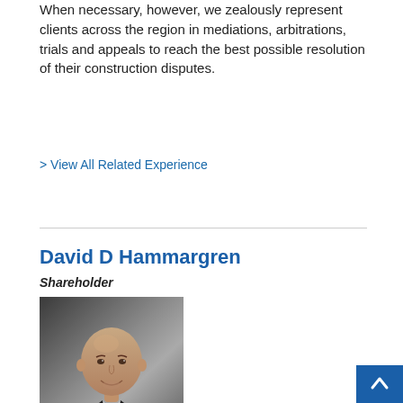When necessary, however, we zealously represent clients across the region in mediations, arbitrations, trials and appeals to reach the best possible resolution of their construction disputes.
> View All Related Experience
David D Hammargren
Shareholder
[Figure (photo): Professional headshot of David D Hammargren, a bald man in a dark suit with a red tie, smiling at the camera against a grey background.]